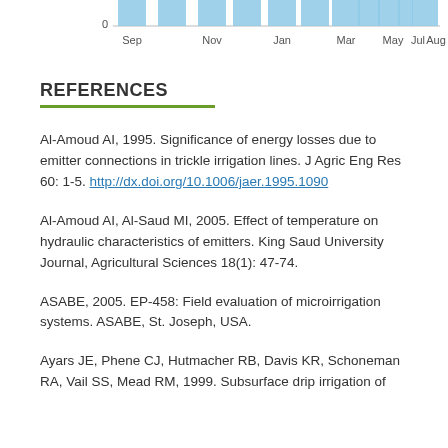[Figure (bar-chart): Partial bar chart showing monthly data from Sep through Aug with light blue bars, x-axis shows month labels, y-axis shows 0 at bottom visible]
REFERENCES
Al-Amoud AI, 1995. Significance of energy losses due to emitter connections in trickle irrigation lines. J Agric Eng Res 60: 1-5. http://dx.doi.org/10.1006/jaer.1995.1090
Al-Amoud AI, Al-Saud MI, 2005. Effect of temperature on hydraulic characteristics of emitters. King Saud University Journal, Agricultural Sciences 18(1): 47-74.
ASABE, 2005. EP-458: Field evaluation of microirrigation systems. ASABE, St. Joseph, USA.
Ayars JE, Phene CJ, Hutmacher RB, Davis KR, Schoneman RA, Vail SS, Mead RM, 1999. Subsurface drip irrigation of